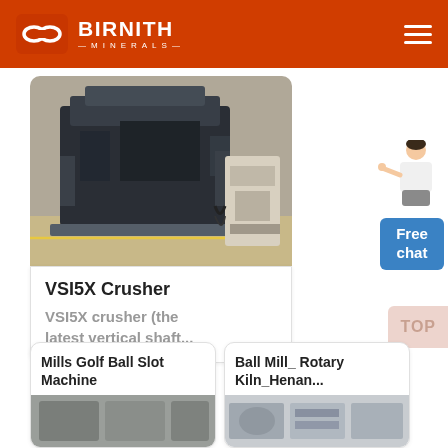BIRNITH MINERALS
[Figure (photo): VSI5X Crusher machine in industrial warehouse setting]
VSI5X Crusher
VSI5X crusher (the latest vertical shaft...
[Figure (illustration): Customer service person figure pointing toward Free chat button]
Free chat
TOP
Mills Golf Ball Slot Machine
[Figure (photo): Mills Golf Ball Slot Machine product image]
Ball Mill_ Rotary Kiln_Henan...
[Figure (photo): Ball Mill and Rotary Kiln product image]